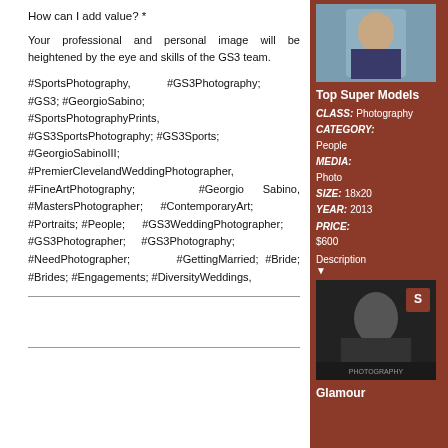How can I add value? *
Your professional and personal image will be heightened by the eye and skills of the GS3 team.
#SportsPhotography, #GS3Photography; #GS3; #GeorgioSabino; #SportsPhotographyPrints, #GS3SportsPhotography; #GS3Sports; #GeorgioSabinoIII; #PremierClevelandWeddingPhotographer, #FineArtPhotography; #Georgio Sabino, #MastersPhotographer; #ContemporaryArt; #Portraits; #People; #GS3WeddingPhotographer; #GS3Photographer; #GS3Photography; #NeedPhotographer; #GettingMarried; #Bride; #Brides; #Engagements; #DiversityWeddings,
[Figure (photo): Portrait photo of a person in the sidebar]
Top Super Models
CLASS: Photography CATEGORY: People MEDIA: Photo SIZE: 18x20 YEAR: 2013 PRICE: $600
Description
[Figure (photo): Black and white sports photography magazine cover image]
Glamour